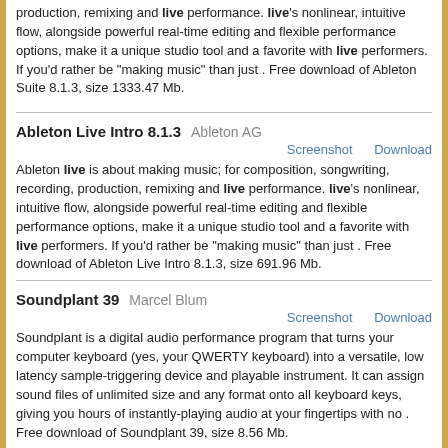production, remixing and live performance. live's nonlinear, intuitive flow, alongside powerful real-time editing and flexible performance options, make it a unique studio tool and a favorite with live performers. If you'd rather be "making music" than just . Free download of Ableton Suite 8.1.3, size 1333.47 Mb.
Ableton Live Intro 8.1.3   Ableton AG
Screenshot   Download
Ableton live is about making music; for composition, songwriting, recording, production, remixing and live performance. live's nonlinear, intuitive flow, alongside powerful real-time editing and flexible performance options, make it a unique studio tool and a favorite with live performers. If you'd rather be "making music" than just . Free download of Ableton Live Intro 8.1.3, size 691.96 Mb.
Soundplant 39   Marcel Blum
Screenshot   Download
Soundplant is a digital audio performance program that turns your computer keyboard (yes, your QWERTY keyboard) into a versatile, low latency sample-triggering device and playable instrument. It can assign sound files of unlimited size and any format onto all keyboard keys, giving you hours of instantly-playing audio at your fingertips with no . Free download of Soundplant 39, size 8.56 Mb.
Binder 1.1   Vadecreation
Screenshot   Download
Music sheet organizer and player . Free download of Binder 1.1, size 102 b.
Web TV Easy 1.0   Three6Nine Studio